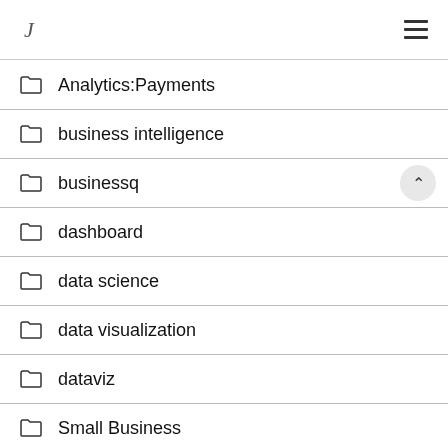navigation header with logo and hamburger menu
Analytics:Payments
business intelligence
businessq
dashboard
data science
data visualization
dataviz
Small Business
Uncategorized